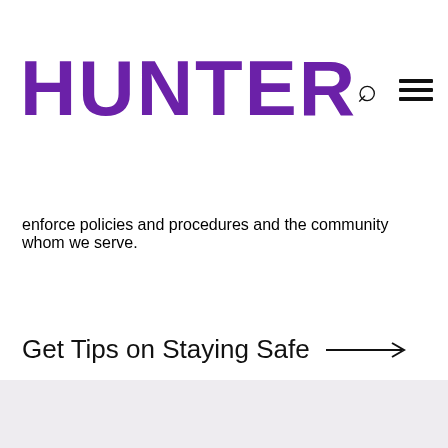HUNTER
enforce policies and procedures and the community whom we serve.
Get Tips on Staying Safe →
[Figure (other): Light gray background section at the bottom of the page]